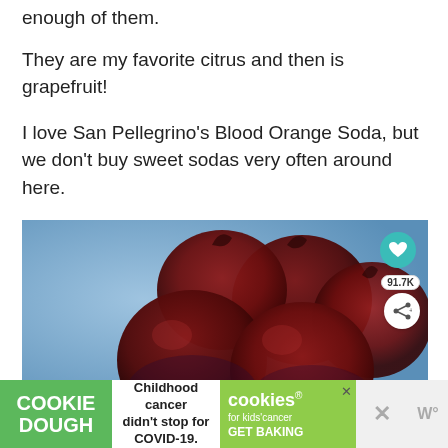enough of them.
They are my favorite citrus and then is grapefruit!
I love San Pellegrino's Blood Orange Soda, but we don't buy sweet sodas very often around here.
We prefer fresh juice.
[Figure (photo): Close-up photo of dark red blood oranges against a blue background, with a teal heart button and share button overlay showing 91.7K shares]
Childhood cancer didn't stop for COVID-19.
COOKIE DOUGH | cookies for kids cancer | GET BAKING